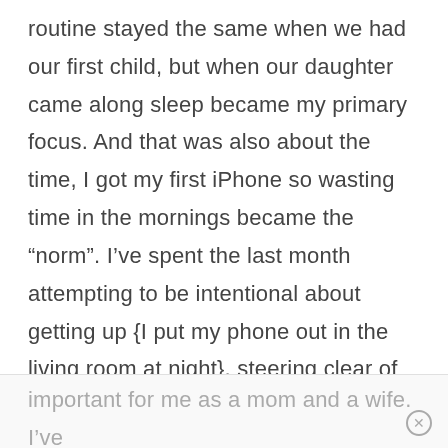routine stayed the same when we had our first child, but when our daughter came along sleep became my primary focus. And that was also about the time, I got my first iPhone so wasting time in the mornings became the “norm”. I’ve spent the last month attempting to be intentional about getting up {I put my phone out in the living room at night}, steering clear of email, blog reading, and social media until all the important stuff is done. I’m back into my morning “quiet-time” with God which is so
important for me as a mom and a wife. I’ve noticed that when my mornings are